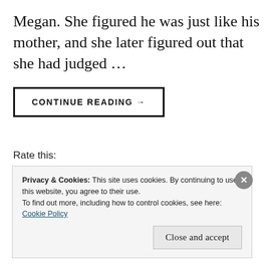Megan. She figured he was just like his mother, and she later figured out that she had judged …
CONTINUE READING →
Rate this:
Rate This
Privacy & Cookies: This site uses cookies. By continuing to use this website, you agree to their use.
To find out more, including how to control cookies, see here: Cookie Policy
Close and accept